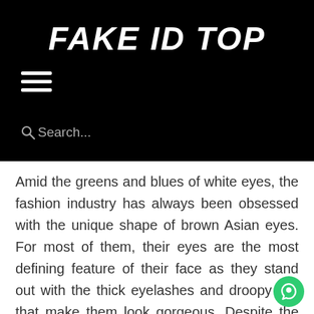FAKE ID TOP
[Figure (other): Hamburger menu icon (three white horizontal lines on black background)]
Search...
Amid the greens and blues of white eyes, the fashion industry has always been obsessed with the unique shape of brown Asian eyes. For most of them, their eyes are the most defining feature of their face as they stand out with the thick eyelashes and droopy lids that make them look gorgeous. Despite the eyes not being very common in the Western, the fashion bloggers love to recreate the look in their own makeup routines and